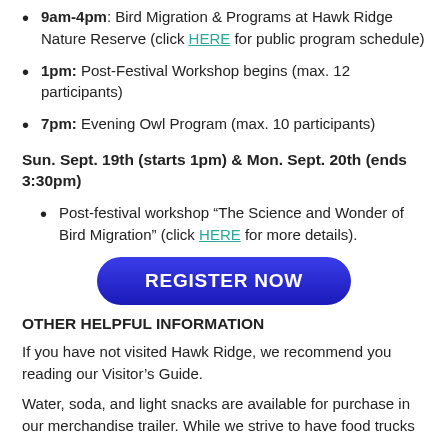9am-4pm: Bird Migration & Programs at Hawk Ridge Nature Reserve (click HERE for public program schedule)
1pm: Post-Festival Workshop begins (max. 12 participants)
7pm: Evening Owl Program (max. 10 participants)
Sun. Sept. 19th (starts 1pm) & Mon. Sept. 20th (ends 3:30pm)
Post-festival workshop “The Science and Wonder of Bird Migration” (click HERE for more details).
[Figure (other): REGISTER NOW button - blue rounded pill-shaped button with white bold text]
OTHER HELPFUL INFORMATION
If you have not visited Hawk Ridge, we recommend you reading our Visitor’s Guide.
Water, soda, and light snacks are available for purchase in our merchandise trailer. While we strive to have food trucks